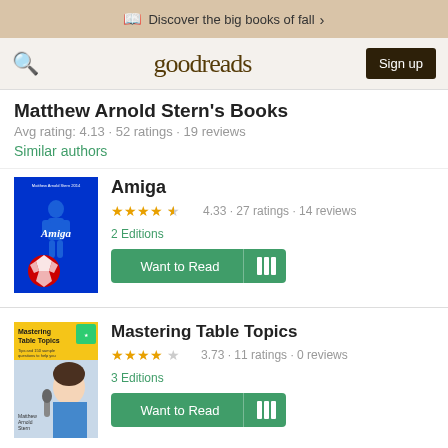Discover the big books of fall >
[Figure (screenshot): Goodreads navigation bar with search icon, logo, and Sign up button]
Matthew Arnold Stern's Books
Avg rating: 4.13 · 52 ratings · 19 reviews
Similar authors
[Figure (photo): Amiga book cover - blue background with silhouette figure and red/white soccer ball]
Amiga
4.33 · 27 ratings · 14 reviews
2 Editions
[Figure (photo): Mastering Table Topics book cover with woman speaking into microphone]
Mastering Table Topics
3.73 · 11 ratings · 0 reviews
3 Editions